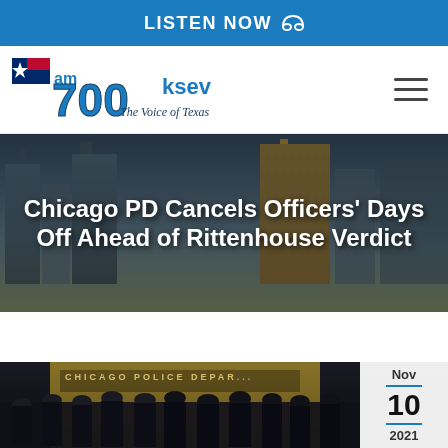LISTEN NOW
[Figure (logo): AM 700 KSEV The Voice of Texas logo with Texas flag graphic]
Chicago PD Cancels Officers' Days Off Ahead of Rittenhouse Verdict
[Figure (photo): Photo of Chicago Police Department officers lined up outside the Chicago Police Department building at night, with a date badge showing Nov 10 2021]